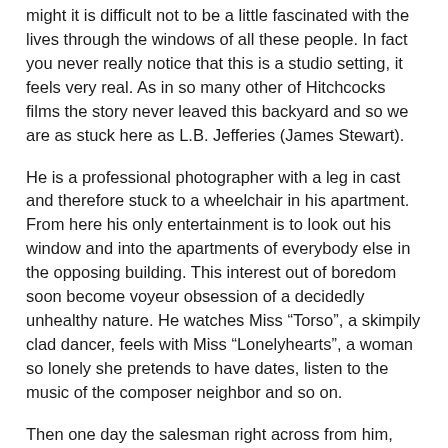might it is difficult not to be a little fascinated with the lives through the windows of all these people. In fact you never really notice that this is a studio setting, it feels very real. As in so many other of Hitchcocks films the story never leaved this backyard and so we are as stuck here as L.B. Jefferies (James Stewart).
He is a professional photographer with a leg in cast and therefore stuck to a wheelchair in his apartment. From here his only entertainment is to look out his window and into the apartments of everybody else in the opposing building. This interest out of boredom soon become voyeur obsession of a decidedly unhealthy nature. He watches Miss “Torso”, a skimpily clad dancer, feels with Miss “Lonelyhearts”, a woman so lonely she pretends to have dates, listen to the music of the composer neighbor and so on.
Then one day the salesman right across from him, who always fights with his wife, starts acting weird. The wife is gone, he leaves and returns several times in the night with a suitcase and he is doing something with knifes, saw and ropes. Jefferies is convinced that the man, Lars Thorwald